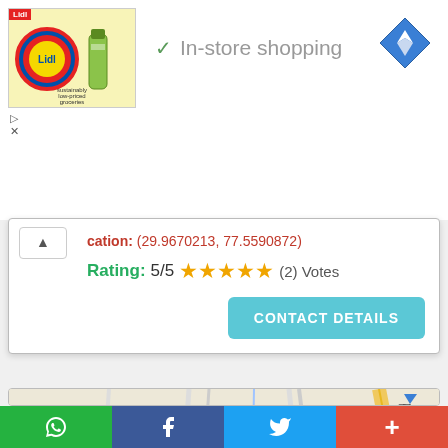[Figure (screenshot): Lidl advertisement banner with logo and grocery images]
✓ In-store shopping
[Figure (other): Blue diamond navigation/directions icon]
cation: (29.9670213, 77.5590872)
Rating: 5/5 ★★★★★ (2) Votes
CONTACT DETAILS
[Figure (map): Google Maps showing Saharanpur area with Mazahir Uloom, Neelkanth Temple Jawahar Park, BD Bajoria Inter College, RAM JIVAN NAGAR, MATAGARH neighborhoods]
WhatsApp | Facebook | Twitter | More